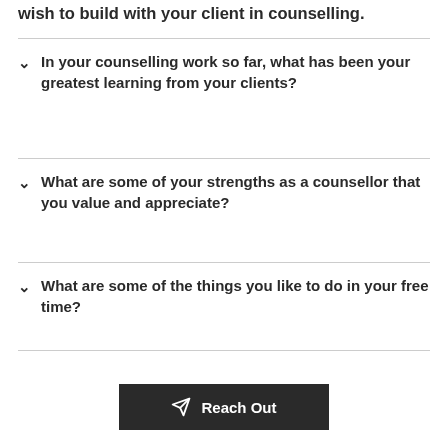wish to build with your client in counselling.
In your counselling work so far, what has been your greatest learning from your clients?
What are some of your strengths as a counsellor that you value and appreciate?
What are some of the things you like to do in your free time?
Reach Out